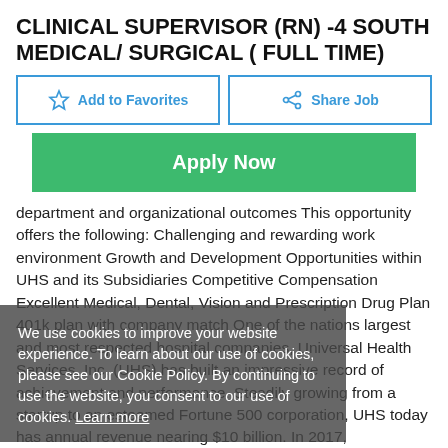CLINICAL SUPERVISOR (RN) -4 SOUTH MEDICAL/ SURGICAL ( FULL TIME)
[Figure (screenshot): Add to Favorites and Share Job buttons]
[Figure (screenshot): Apply Now green button]
department and organizational outcomes This opportunity offers the following: Challenging and rewarding work environment Growth and Development Opportunities within UHS and its Subsidiaries Competitive Compensation Excellent Medical, Dental, Vision and Prescription Drug Plan 401k plan with company match One of the nations largest and most respected hospital companies, Universal Health Services, Inc. (UHS) has built an impressive record of achievement and performance. Steadily growing from a startup to an esteemed Fortune 500 corporation, UHS today has annual revenue nearing $10 billion. In 2017,
We use cookies to improve your website experience. To learn about our use of cookies, please see our Cookie Policy. By continuing to use the website, you consent to our use of cookies. Learn more
[Figure (screenshot): Got it! button in salmon/pink color]